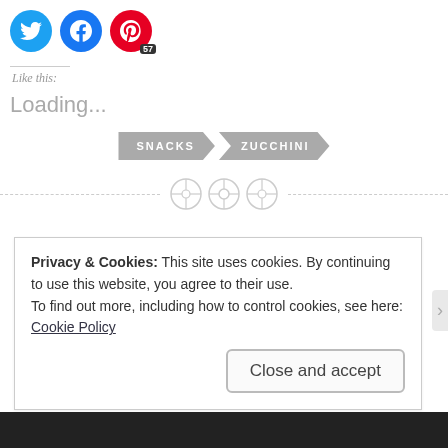[Figure (screenshot): Social media share buttons: Twitter (blue circle), Facebook (blue circle), Pinterest (red circle with badge showing 57)]
Like this:
Loading...
[Figure (infographic): Two arrow-shaped tag buttons labeled SNACKS and ZUCCHINI in gray]
[Figure (other): Decorative dashed divider line with three button/circle icons in the center]
Privacy & Cookies: This site uses cookies. By continuing to use this website, you agree to their use.
To find out more, including how to control cookies, see here:
Cookie Policy
Close and accept